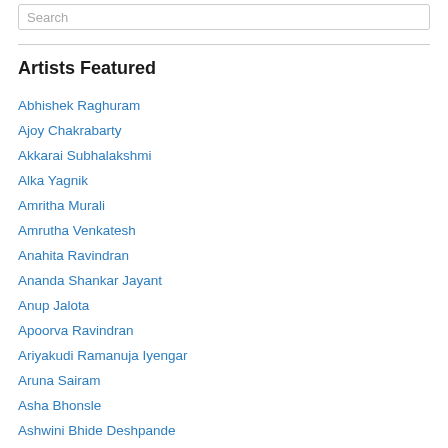Search
Artists Featured
Abhishek Raghuram
Ajoy Chakrabarty
Akkarai Subhalakshmi
Alka Yagnik
Amritha Murali
Amrutha Venkatesh
Anahita Ravindran
Ananda Shankar Jayant
Anup Jalota
Apoorva Ravindran
Ariyakudi Ramanuja Iyengar
Aruna Sairam
Asha Bhonsle
Ashwini Bhide Deshpande
Bade Ghulam Ali Khan